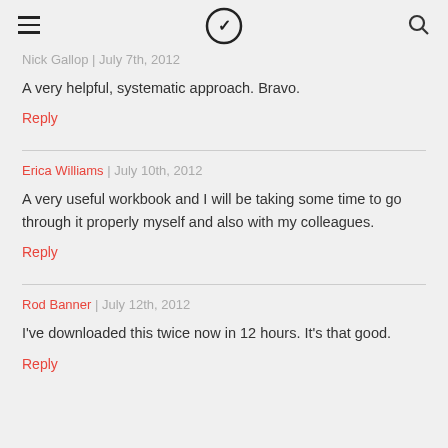≡  ⓥ  🔍
Nick Gallop | July 7th, 2012
A very helpful, systematic approach. Bravo.
Reply
Erica Williams | July 10th, 2012
A very useful workbook and I will be taking some time to go through it properly myself and also with my colleagues.
Reply
Rod Banner | July 12th, 2012
I've downloaded this twice now in 12 hours. It's that good.
Reply